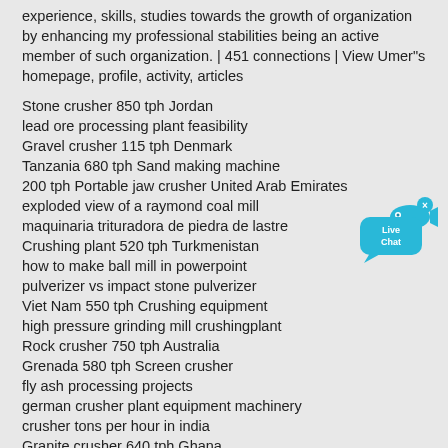experience, skills, studies towards the growth of organization by enhancing my professional stabilities being an active member of such organization. | 451 connections | View Umer"s homepage, profile, activity, articles
Stone crusher 850 tph Jordan
lead ore processing plant feasibility
Gravel crusher 115 tph Denmark
Tanzania 680 tph Sand making machine
200 tph Portable jaw crusher United Arab Emirates
exploded view of a raymond coal mill
maquinaria trituradora de piedra de lastre
Crushing plant 520 tph Turkmenistan
how to make ball mill in powerpoint
pulverizer vs impact stone pulverizer
Viet Nam 550 tph Crushing equipment
high pressure grinding mill crushingplant
Rock crusher 750 tph Australia
Grenada 580 tph Screen crusher
fly ash processing projects
german crusher plant equipment machinery
crusher tons per hour in india
Granite crusher 640 tph Ghana
high pressure grinding millgrinding
high temperature jaw crusher
Screen crusher 175 tph Burundi
[Figure (illustration): Live Chat button widget with blue speech bubble and fish icon]